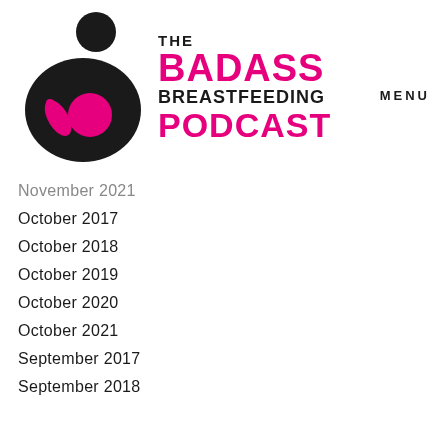[Figure (logo): The Badass Breastfeeding Podcast logo: black silhouette of a person breastfeeding a baby with a pink baby figure, text THE BADASS BREASTFEEDING PODCAST]
MENU
November 2021
October 2017
October 2018
October 2019
October 2020
October 2021
September 2017
September 2018